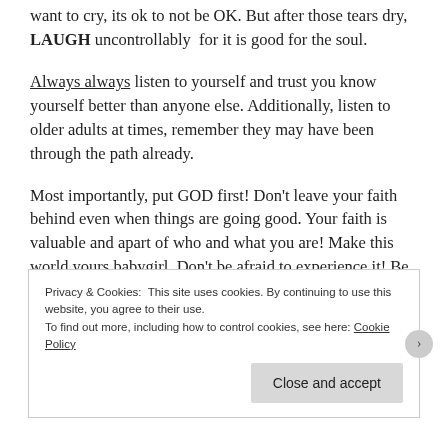want to cry, its ok to not be OK. But after those tears dry, LAUGH uncontrollably for it is good for the soul.
Always always listen to yourself and trust you know yourself better than anyone else. Additionally, listen to older adults at times, remember they may have been through the path already.
Most importantly, put GOD first! Don't leave your faith behind even when things are going good. Your faith is valuable and apart of who and what you are! Make this world yours babygirl, Don't be afraid to experience it! Be proud of yourself, you will do fine!
Privacy & Cookies: This site uses cookies. By continuing to use this website, you agree to their use. To find out more, including how to control cookies, see here: Cookie Policy